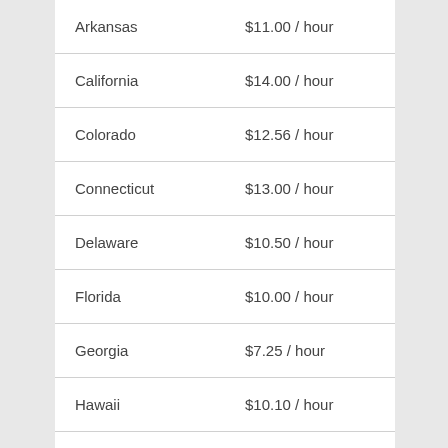| State | Minimum Wage |
| --- | --- |
| Arkansas | $11.00 / hour |
| California | $14.00 / hour |
| Colorado | $12.56 / hour |
| Connecticut | $13.00 / hour |
| Delaware | $10.50 / hour |
| Florida | $10.00 / hour |
| Georgia | $7.25 / hour |
| Hawaii | $10.10 / hour |